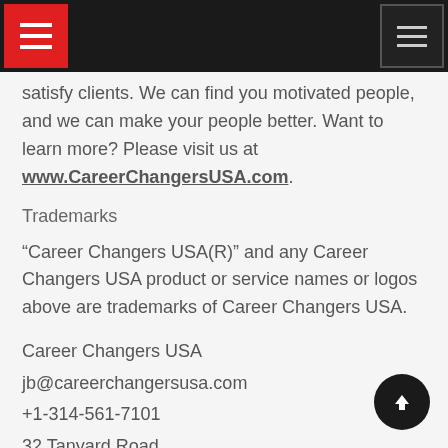[navigation bar with hamburger menus]
satisfy clients. We can find you motivated people, and we can make your people better. Want to learn more? Please visit us at www.CareerChangersUSA.com.
Trademarks
“Career Changers USA(R)” and any Career Changers USA product or service names or logos above are trademarks of Career Changers USA.
Career Changers USA
jb@careerchangersusa.com
+1-314-561-7101
32 Tanyard Road
United States